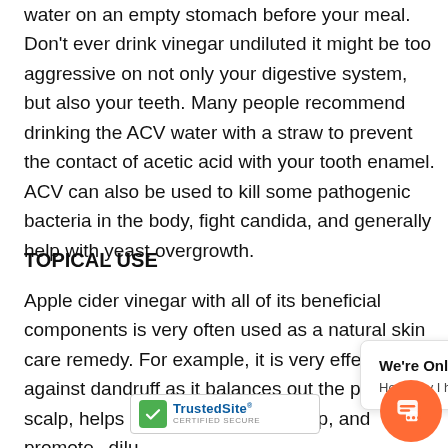water on an empty stomach before your meal. Don't ever drink vinegar undiluted it might be too aggressive on not only your digestive system, but also your teeth. Many people recommend drinking the ACV water with a straw to prevent the contact of acetic acid with your tooth enamel. ACV can also be used to kill some pathogenic bacteria in the body, fight candida, and generally help with yeast overgrowth.
TOPICAL USE
Apple cider vinegar with all of its beneficial components is very often used as a natural skin care remedy. For example, it is very effective against dandruff as it balances out the pH of the scalp, helps remove product buildup, and promotes... dilu... tables... in... with...